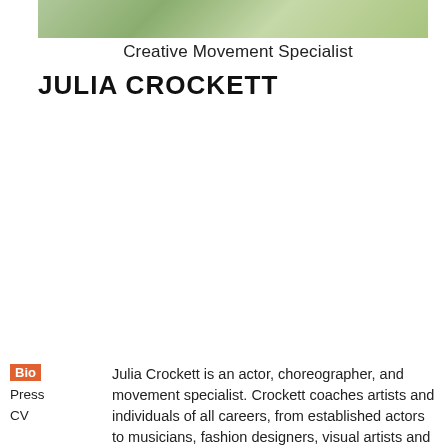[Figure (photo): Partial photo of a person with green/plant elements visible at top of page]
Creative Movement Specialist
JULIA CROCKETT
Bio
Press
CV
Julia Crockett is an actor, choreographer, and movement specialist. Crockett coaches artists and individuals of all careers, from established actors to musicians, fashion designers, visual artists and business professionals. She has a unique ability to work with people from different